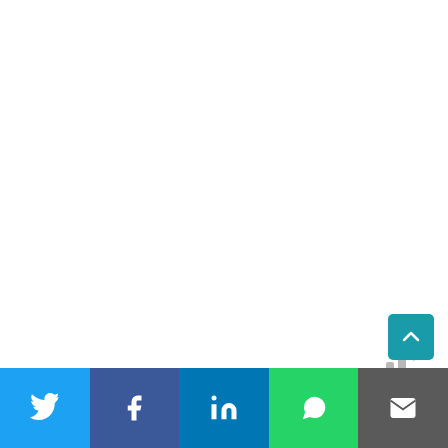[Figure (logo): Decorative bar-chart-like logo with vertical bars and a small degree symbol]
I feel like I understand Chinatown and Little Italy a little better now : what's real, what's commercial and what's delicious. Plus, now I have a whole OTHER list of restaurants to try.
Thank you to Ahoy New York for the complimentary tour.
[Figure (infographic): Social share bar with Twitter, Facebook, LinkedIn, WhatsApp, and Email buttons]